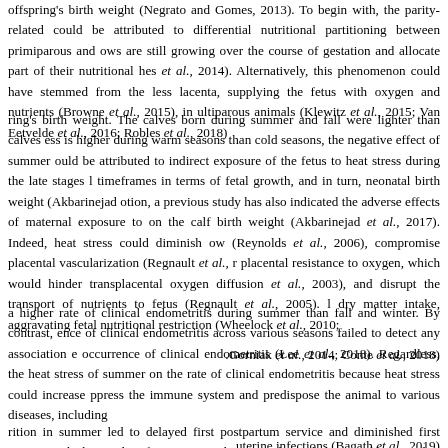offspring's birth weight (Negrato and Gomes, 2013). To begin with, the parity-related could be attributed to differential nutritional partitioning between primiparous and ows are still growing over the course of gestation and allocate part of their nutritional hes et al., 2014). Alternatively, this phenomenon could have stemmed from the less lacenta, supplying the fetus with oxygen and nutrients (Browne et al., 2015), in ultiparous animals (Klewitz et al., 2015; Van Eetvelde et al., 2016; Robles et al., 2018)
ring's birth weight. The calves born during summer and fall were lighter than calves ess is higher during warm seasons than cold seasons, the negative effect of summer ould be attributed to indirect exposure of the fetus to heat stress during the late stages l timeframes in terms of fetal growth, and in turn, neonatal birth weight (Akbarinejad otion, a previous study has also indicated the adverse effects of maternal exposure to on the calf birth weight (Akbarinejad et al., 2017). Indeed, heat stress could diminish ow (Reynolds et al., 2006), compromise placental vascularization (Regnault et al., r placental resistance to oxygen, which would hinder transplacental oxygen diffusion et al., 2003), and disrupt the transport of nutrients to fetus (Regnault et al., 2005). l dry matter intake, aggravating fetal nutritional restriction (Wheelock et al., 2010; .Gorniak et al., 2014; Conte et al., 2018)
a higher rate of clinical endometritis during summer than fall and winter. By contrast, ence of clinical endometritis across various seasons failed to detect any association e occurrence of clinical endometritis (Lee et al., 2018). Regardless, the heat stress of summer on the rate of clinical endometritis because heat stress could increase ppress the immune system and predispose the animal to various diseases, including .uterine infections (Bagath et al., 2019)
rition in summer led to delayed first postpartum service and diminished first service with the results of previous studies (Emadi et al., 2014; Akbarinejad et al., 2017;